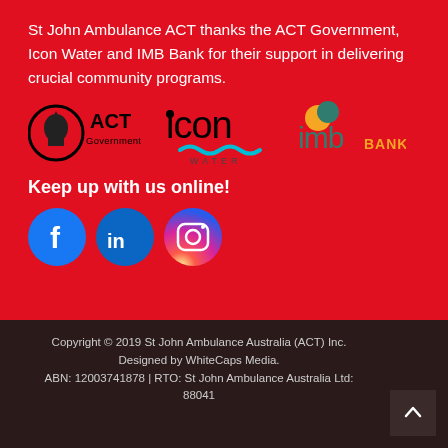St John Ambulance ACT thanks the ACT Government, Icon Water and IMB Bank for their support in delivering crucial community programs.
[Figure (logo): Sponsor logos: ACT Government, Icon Water, IMB Bank]
Keep up with us online!
[Figure (illustration): Social media icons: Facebook, LinkedIn, Instagram]
Copyright © 2019 St John Ambulance Australia (ACT) Inc. Designed by WhiteCaps Media. ABN: 12003741878 | RTO: St John Ambulance Australia Ltd: 88041